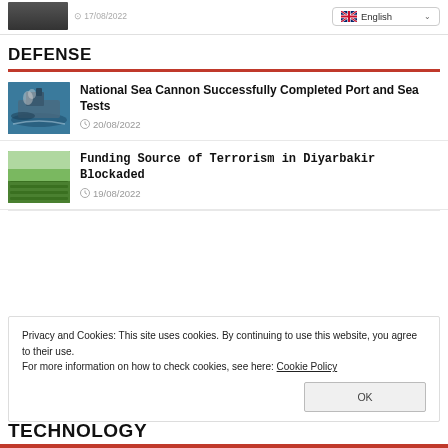[Figure (screenshot): Small thumbnail image (dark/bridge scene) at top left with date text and language dropdown showing English with flag]
DEFENSE
[Figure (photo): Naval warship at sea with smoke, blue water]
National Sea Cannon Successfully Completed Port and Sea Tests
20/08/2022
[Figure (photo): Green agricultural field, rows of plants]
Funding Source of Terrorism in Diyarbakir Blockaded
19/08/2022
Privacy and Cookies: This site uses cookies. By continuing to use this website, you agree to their use.
For more information on how to check cookies, see here: Cookie Policy
TECHNOLOGY